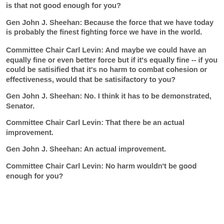is that not good enough for you?
Gen John J. Sheehan: Because the force that we have today is probably the finest fighting force we have in the world.
Committee Chair Carl Levin: And maybe we could have an equally fine or even better force but if it's equally fine -- if you could be satisified that it's no harm to combat cohesion or effectiveness, would that be satisifactory to you?
Gen John J. Sheehan: No. I think it has to be demonstrated, Senator.
Committee Chair Carl Levin: That there be an actual improvement.
Gen John J. Sheehan: An actual improvement.
Committee Chair Carl Levin: No harm wouldn't be good enough for you?